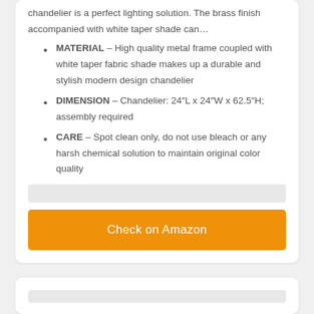chandelier is a perfect lighting solution. The brass finish accompanied with white taper shade can…
MATERIAL – High quality metal frame coupled with white taper fabric shade makes up a durable and stylish modern design chandelier
DIMENSION – Chandelier: 24″L x 24″W x 62.5″H; assembly required
CARE – Spot clean only, do not use bleach or any harsh chemical solution to maintain original color quality
Check on Amazon